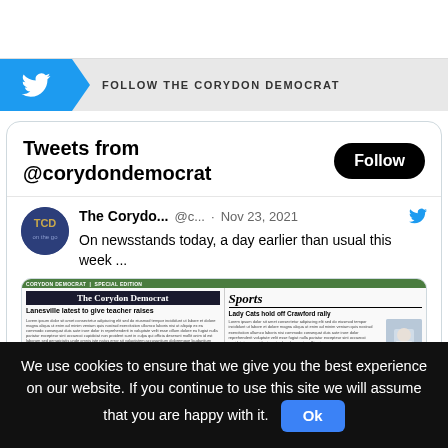[Figure (screenshot): Twitter/X follow banner with blue bird icon and text 'FOLLOW THE CORYDON DEMOCRAT']
Tweets from @corydondemocrat
[Figure (screenshot): Tweet from The Corydon Democrat (@c...) on Nov 23, 2021: 'On newsstands today, a day earlier than usual this week ...' with a newspaper front page image showing 'The Corydon Democrat' masthead, headline 'Lanesville latest to give teacher raises', and Sports section 'Lady Cats hold off Crawford rally']
We use cookies to ensure that we give you the best experience on our website. If you continue to use this site we will assume that you are happy with it.